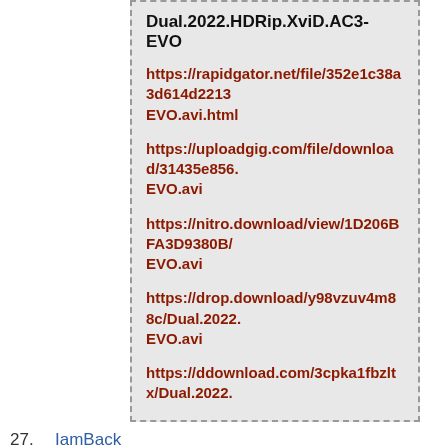Dual.2022.HDRip.XviD.AC3-EVO
https://rapidgator.net/file/352e1c38a3d614d2213...EVO.avi.html
https://uploadgig.com/file/download/31435e856....EVO.avi
https://nitro.download/view/1D206BFA3D9380B/...EVO.avi
https://drop.download/y98vzuv4m88c/Dual.2022....EVO.avi
https://ddownload.com/3cpka1fbzltx/Dual.2022....
27.  IamBack
May 20th, 2022 at 8:51 AM